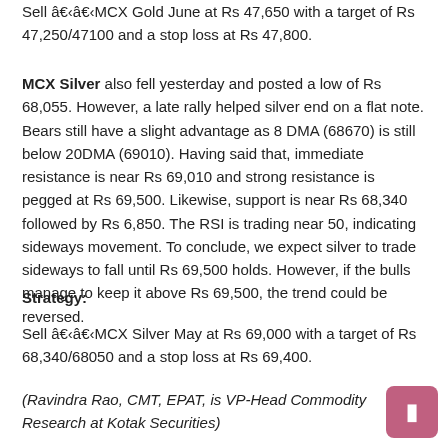Sell â€‹â€‹MCX Gold June at Rs 47,650 with a target of Rs 47,250/47100 and a stop loss at Rs 47,800.
MCX Silver also fell yesterday and posted a low of Rs 68,055. However, a late rally helped silver end on a flat note. Bears still have a slight advantage as 8 DMA (68670) is still below 20DMA (69010). Having said that, immediate resistance is near Rs 69,010 and strong resistance is pegged at Rs 69,500. Likewise, support is near Rs 68,340 followed by Rs 6,850. The RSI is trading near 50, indicating sideways movement. To conclude, we expect silver to trade sideways to fall until Rs 69,500 holds. However, if the bulls manage to keep it above Rs 69,500, the trend could be reversed.
Strategy:
Sell â€‹â€‹MCX Silver May at Rs 69,000 with a target of Rs 68,340/68050 and a stop loss at Rs 69,400.
(Ravindra Rao, CMT, EPAT, is VP-Head Commodity Research at Kotak Securities)